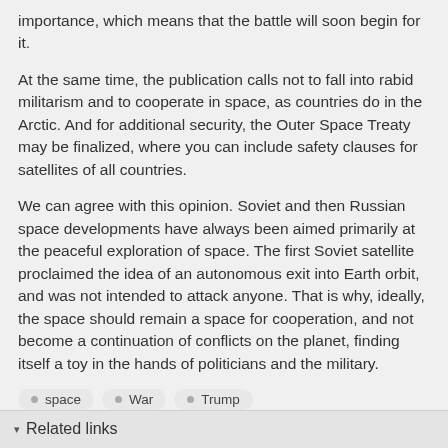importance, which means that the battle will soon begin for it.
At the same time, the publication calls not to fall into rabid militarism and to cooperate in space, as countries do in the Arctic. And for additional security, the Outer Space Treaty may be finalized, where you can include safety clauses for satellites of all countries.
We can agree with this opinion. Soviet and then Russian space developments have always been aimed primarily at the peaceful exploration of space. The first Soviet satellite proclaimed the idea of an autonomous exit into Earth orbit, and was not intended to attack anyone. That is why, ideally, the space should remain a space for cooperation, and not become a continuation of conflicts on the planet, finding itself a toy in the hands of politicians and the military.
space
War
Trump
▾ Related links